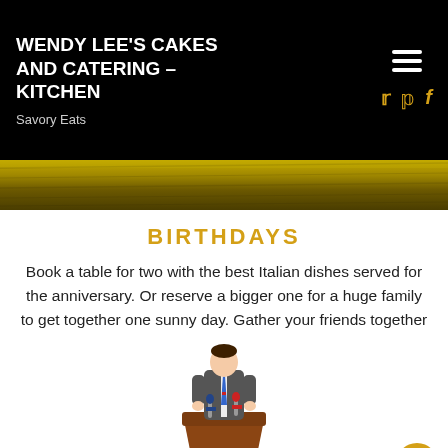WENDY LEE'S CAKES AND CATERING – KITCHEN
Savory Eats
[Figure (photo): Wooden table banner image with dark and golden tones]
BIRTHDAYS
Book a table for two with the best Italian dishes served for the anniversary. Or reserve a bigger one for a huge family to get together one sunny day. Gather your friends together
[Figure (illustration): Illustration of a man in a suit standing at a podium/lectern with microphones]
BIRTHDAYS